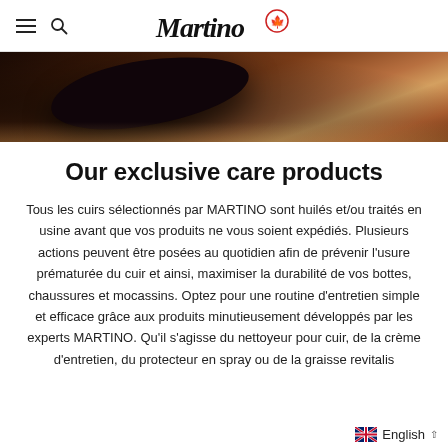Martino [logo with maple leaf]
[Figure (photo): Close-up photo of a dark brown leather shoe or boot on a textured surface, warm tones]
Our exclusive care products
Tous les cuirs sélectionnés par MARTINO sont huilés et/ou traités en usine avant que vos produits ne vous soient expédiés. Plusieurs actions peuvent être posées au quotidien afin de prévenir l'usure prématurée du cuir et ainsi, maximiser la durabilité de vos bottes, chaussures et mocassins. Optez pour une routine d'entretien simple et efficace grâce aux produits minutieusement développés par les experts MARTINO. Qu'il s'agisse du nettoyeur pour cuir, de la crème d'entretien, du protecteur en spray ou de la graisse revitalis
English